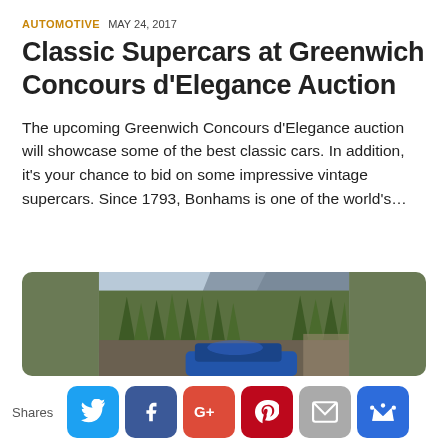AUTOMOTIVE  MAY 24, 2017
Classic Supercars at Greenwich Concours d'Elegance Auction
The upcoming Greenwich Concours d'Elegance auction will showcase some of the best classic cars. In addition, it's your chance to bid on some impressive vintage supercars. Since 1793, Bonhams is one of the world's…
[Figure (photo): Car driving through a forested mountain road with tall trees and rocky cliffs in the background]
Shares [Twitter] [Facebook] [Google+] [Pinterest] [Email] [Crown]